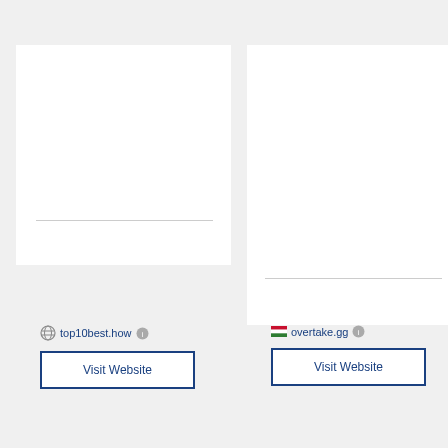[Figure (screenshot): Left top card - white box, upper portion of a website card]
[Figure (screenshot): Right top card - white box, upper portion of a website card]
top10best.how
Visit Website
overtake.gg
Visit Website